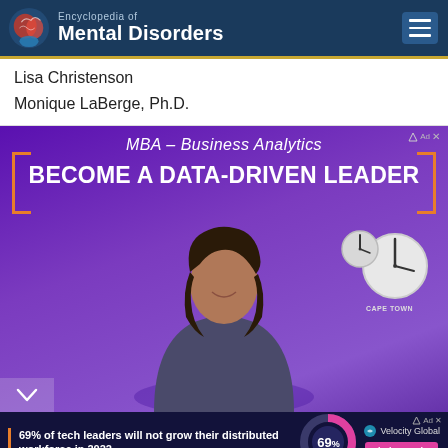Encyclopedia of Mental Disorders
Lisa Christenson
Monique LaBerge, Ph.D.
[Figure (photo): Advertisement for MBA – Business Analytics program: 'BECOME A DATA-DRIVEN LEADER' with photo of a smiling woman and clocks in the background]
[Figure (infographic): Bottom ad bar: '69% of tech leaders will not grow their distributed workforce in 2022' with a donut chart showing 69% and Velocity Global branding with 'Find Out Why' button]